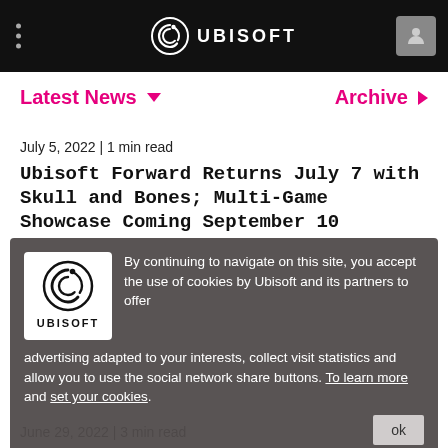UBISOFT
Latest News
Archive
July 5, 2022 | 1 min read
Ubisoft Forward Returns July 7 with Skull and Bones; Multi-Game Showcase Coming September 10
READ MORE →
By continuing to navigate on this site, you accept the use of cookies by Ubisoft and its partners to offer advertising adapted to your interests, collect visit statistics and allow you to use the social network share buttons. To learn more and set your cookies.
June 29, 2022 | 3 min read